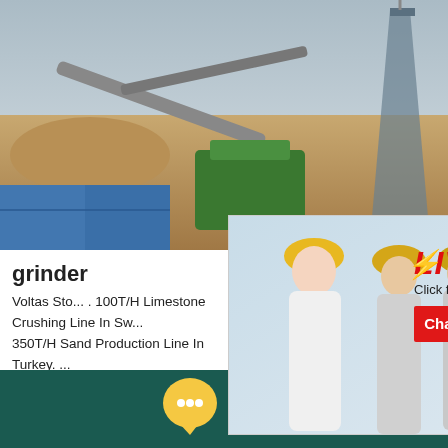[Figure (photo): Outdoor quarry/mining site with conveyor belts, green machinery, blue shipping containers, and industrial crane structures against a hazy sky.]
[Figure (screenshot): Live chat popup overlay showing three workers in yellow hard hats, red LIVE CHAT text, 'Click for a Free Consultation' subtitle, and Chat now / Chat later buttons.]
[Figure (photo): Right sidebar showing blue 'hour online' strip, cone crusher machine image, and blue 'Click me to chat>>' button.]
grinder
Voltas Sto... . 100T/H Limestone Crushing Line In Sw... 350T/H Sand Production Line In Turkey. ... And Screening Line In Norway. Quarry Pr... Crusher Sand Making Stone Quarry. Stone...
hour online
Click me to chat>>
[Figure (infographic): Dark teal bottom bar with yellow speech bubble icon containing three white dots and white 'Chat Online' text.]
Chat Online